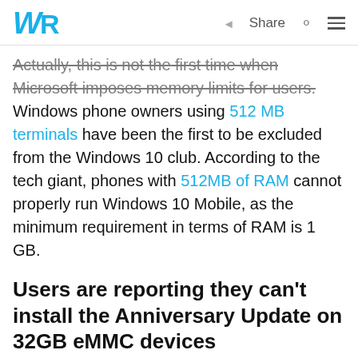WR | Share [search] [menu]
Actually, this is not the first time when Microsoft imposes memory limits for users. Windows phone owners using 512 MB terminals have been the first to be excluded from the Windows 10 club. According to the tech giant, phones with 512MB of RAM cannot properly run Windows 10 Mobile, as the minimum requirement in terms of RAM is 1 GB.
Users are reporting they can’t install the Anniversary Update on 32GB eMMC devices
““ I have two budget laptops (a Lenovo S21e-20 and a HP Stream 11 Pro) that both have non-expandable, non-replaceable